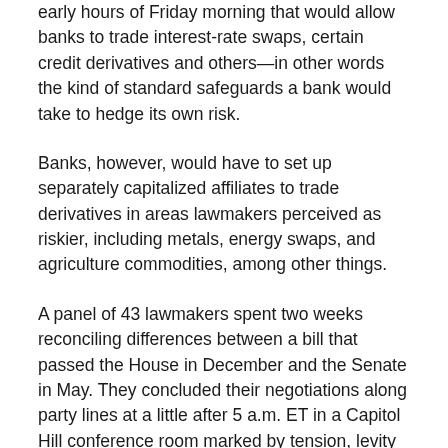early hours of Friday morning that would allow banks to trade interest-rate swaps, certain credit derivatives and others—in other words the kind of standard safeguards a bank would take to hedge its own risk.
Banks, however, would have to set up separately capitalized affiliates to trade derivatives in areas lawmakers perceived as riskier, including metals, energy swaps, and agriculture commodities, among other things.
A panel of 43 lawmakers spent two weeks reconciling differences between a bill that passed the House in December and the Senate in May. They concluded their negotiations along party lines at a little after 5 a.m. ET in a Capitol Hill conference room marked by tension, levity and exhaustion. Senior administration officials, including Treasury Department Deputy Secretary Neal Wolin,